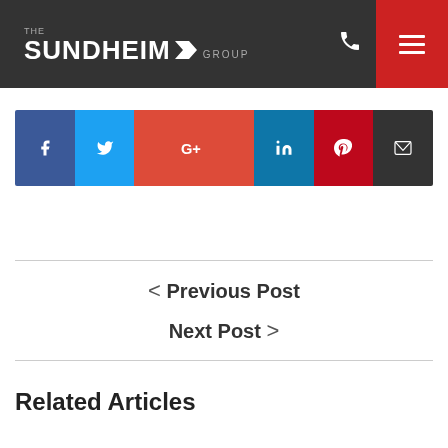THE SUNDHEIM GROUP
[Figure (infographic): Social sharing bar with buttons for Facebook, Twitter, Google+, LinkedIn, Pinterest, and Email]
< Previous Post
Next Post >
Related Articles